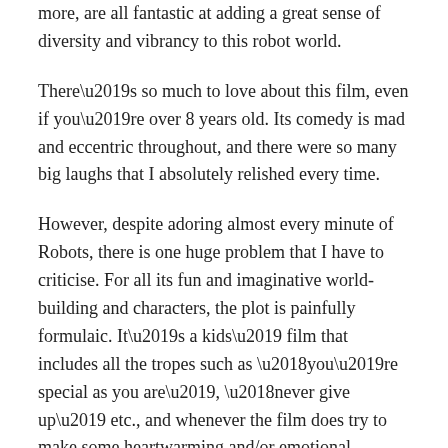more, are all fantastic at adding a great sense of diversity and vibrancy to this robot world.
There’s so much to love about this film, even if you’re over 8 years old. Its comedy is mad and eccentric throughout, and there were so many big laughs that I absolutely relished every time.
However, despite adoring almost every minute of Robots, there is one huge problem that I have to criticise. For all its fun and imaginative world-building and characters, the plot is painfully formulaic. It’s a kids’ film that includes all the tropes such as ‘you’re special as you are’, ‘never give up’ etc., and whenever the film does try to make some heartwarming and/or emotional sequences around those messages, it falls completely flat, feeling painfully cheesy, unnecessary and irritating.